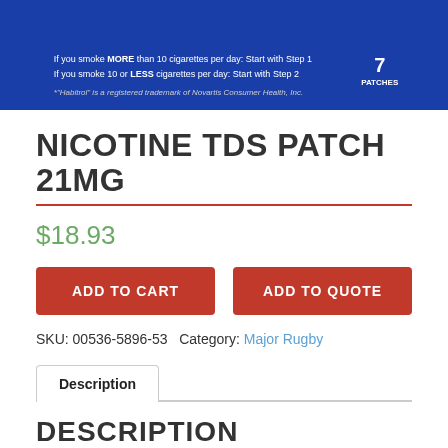[Figure (photo): Blue product box for Nicotine TDS Patch 21mg (Habitrol brand). White text on blue background reads instructions about smoke MORE than 10 cigarettes per day: Start with Step 1, and smoke 10 or LESS cigarettes per day: Start with Step 2. Habitrol registered trademark notice. Badge showing number 7 PATCHES.]
NICOTINE TDS PATCH 21MG
$18.93
ADD TO CART
ADD TO QUOTE
SKU: 00536-5896-53  Category: Major Rugby
Description
DESCRIPTION
HABITROL PATCH 21MG